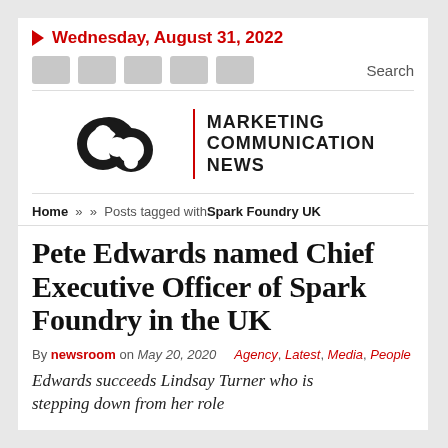Wednesday, August 31, 2022
[Figure (logo): Marketing Communication News logo — two interlocking circular arc shapes in black beside a vertical red bar and bold text reading MARKETING COMMUNICATION NEWS]
Home » » Posts tagged withSpark Foundry UK
Pete Edwards named Chief Executive Officer of Spark Foundry in the UK
By newsroom on May 20, 2020   Agency, Latest, Media, People
Edwards succeeds Lindsay Turner who is stepping down from her role